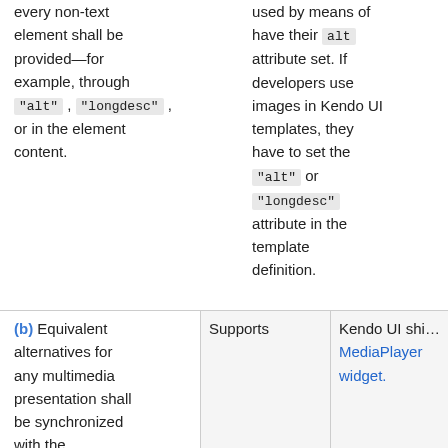every non-text element shall be provided—for example, through "alt", "longdesc", or in the element content.
used by means of have their alt attribute set. If developers use images in Kendo UI templates, they have to set the "alt" or "longdesc" attribute in the template definition.
| Criterion | Support | Notes |
| --- | --- | --- |
| (b) Equivalent alternatives for any multimedia presentation shall be synchronized with the presentation. | Supports | Kendo UI ships MediaPlayer widget. |
[Figure (illustration): Circular avatar icon of a ninja character with orange accents, partially clipped by the right edge, with a blue circle border]